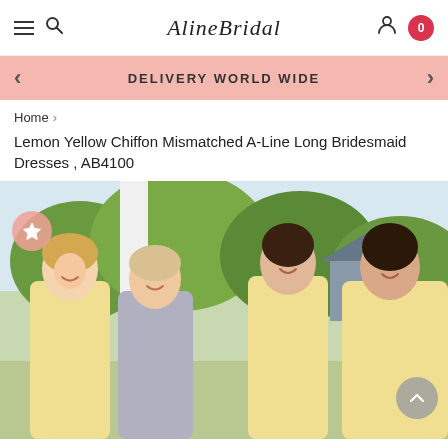AlineBridal — Navigation header with hamburger menu, search, logo, user icon, cart (0)
DELIVERY WORLDWIDE
Home > Lemon Yellow Chiffon Mismatched A-Line Long Bridesmaid Dresses , AB4100
Lemon Yellow Chiffon Mismatched A-Line Long Bridesmaid Dresses , AB4100
[Figure (photo): Four young women smiling outdoors in bridesmaid dresses — three in lemon yellow and one in grey/silver chiffon mismatched A-line gowns, standing in front of greenery and a white column.]